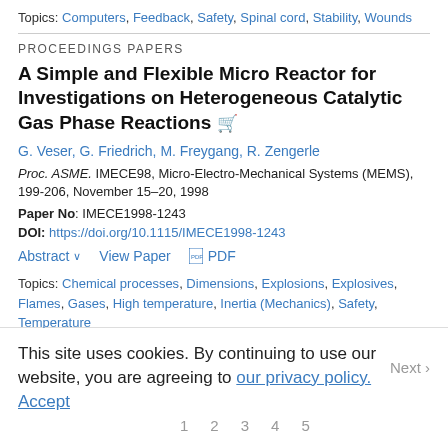Topics: Computers, Feedback, Safety, Spinal cord, Stability, Wounds
PROCEEDINGS PAPERS
A Simple and Flexible Micro Reactor for Investigations on Heterogeneous Catalytic Gas Phase Reactions
G. Veser, G. Friedrich, M. Freygang, R. Zengerle
Proc. ASME. IMECE98, Micro-Electro-Mechanical Systems (MEMS), 199-206, November 15–20, 1998
Paper No: IMECE1998-1243
DOI: https://doi.org/10.1115/IMECE1998-1243
Abstract  View Paper  PDF
Topics: Chemical processes, Dimensions, Explosions, Explosives, Flames, Gases, High temperature, Inertia (Mechanics), Safety, Temperature
This site uses cookies. By continuing to use our website, you are agreeing to our privacy policy. Accept